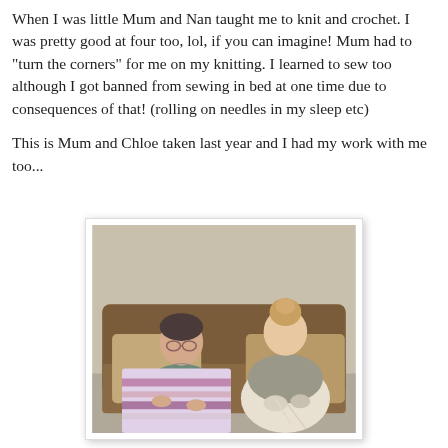When I was little Mum and Nan taught me to knit and crochet. I was pretty good at four too, lol, if you can imagine! Mum had to "turn the corners" for me on my knitting. I learned to sew too although I got banned from sewing in bed at one time due to consequences of that! (rolling on needles in my sleep etc)
This is Mum and Chloe taken last year and I had my work with me too...
[Figure (photo): Two women sitting on a sofa knitting/crocheting together. One older woman on the left with dark grey hair and glasses holds a colourful striped crochet blanket. A younger woman on the right with blonde hair up in a bun wears a scarf and is crocheting.]